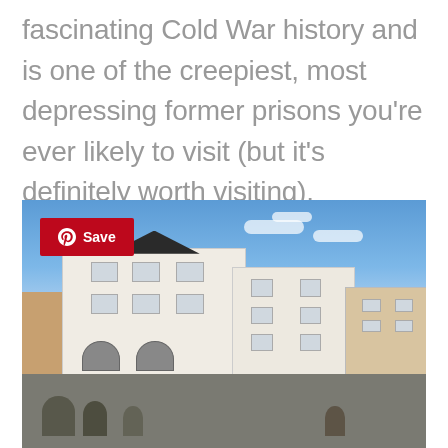fascinating Cold War history and is one of the creepiest, most depressing former prisons you're ever likely to visit (but it's definitely worth visiting).
[Figure (photo): Street-level photograph of historic white European buildings with a blue sky backdrop. A red Pinterest 'Save' button overlay is visible in the top-left corner. People are walking on the street below.]